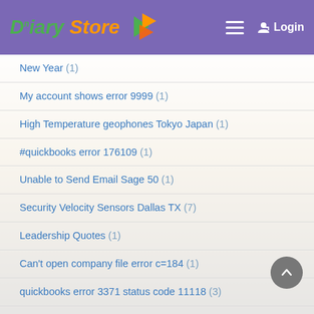Diary Store — Login
New Year (1)
My account shows error 9999 (1)
High Temperature geophones Tokyo Japan (1)
#quickbooks error 176109 (1)
Unable to Send Email Sage 50 (1)
Security Velocity Sensors Dallas TX (7)
Leadership Quotes (1)
Can't open company file error c=184 (1)
quickbooks error 3371 status code 11118 (3)
home renovation companies dubai (1)
Nayati Healthcare (2)
Simple tips to resolve QuickBooks Error 15102 (1)